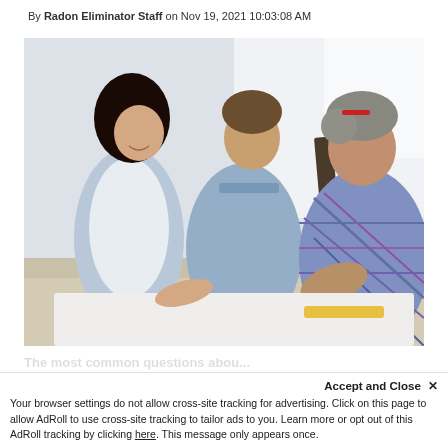By Radon Eliminator Staff on Nov 19, 2021 10:03:08 AM
[Figure (photo): Three people (two men and a woman) leaning over a table looking at plans or documents, in a bright indoor setting. The woman on the left wears a white top and light blue jacket, the man in the middle wears a light blue denim shirt, and the older man on the right wears a plaid shirt and has gray hair with a red hair accessory.]
THE MOST COMMON QUESTIONS ABOU...
Accept and Close ×
Your browser settings do not allow cross-site tracking for advertising. Click on this page to allow AdRoll to use cross-site tracking to tailor ads to you. Learn more or opt out of this AdRoll tracking by clicking here. This message only appears once.